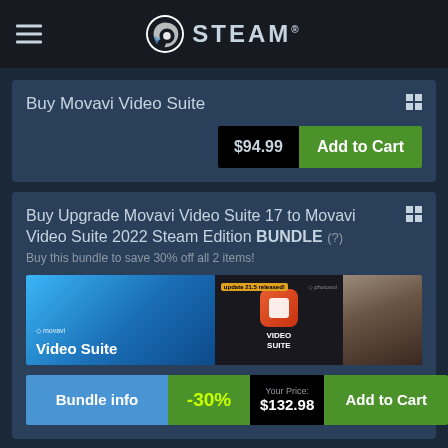STEAM
Buy Movavi Video Suite
$94.99  Add to Cart
Buy Upgrade Movavi Video Suite 17 to Movavi Video Suite 2022 Steam Edition BUNDLE (?)
Buy this bundle to save 30% off all 2 items!
[Figure (screenshot): Bundle product images showing Movavi Video Suite and a second product]
Bundle info  -30%  Your Price: $132.98  Add to Cart